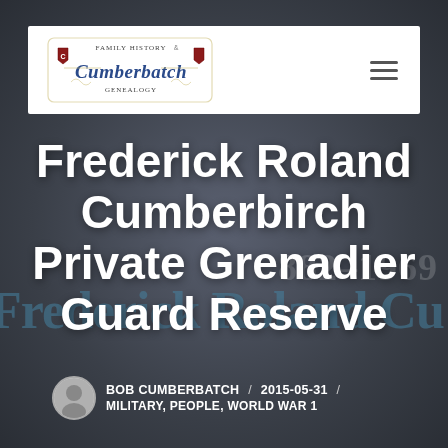[Figure (logo): Cumberbatch Family History & Genealogy decorative logo with blue ornate lettering on white navbar background]
Frederick Roland Cumberbirch Private Grenadier Guard Reserve
BOB CUMBERBATCH / 2015-05-31 / MILITARY, PEOPLE, WORLD WAR 1